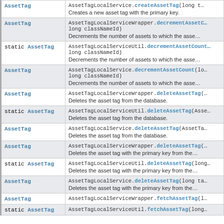| Return Type | Method and Description |
| --- | --- |
| AssetTag | AssetTagLocalService.createAssetTag(long t…
Creates a new asset tag with the primary key. |
| AssetTag | AssetTagLocalServiceWrapper.decrementAssetC…long classNameId)
Decrements the number of assets to which the asse… |
| static AssetTag | AssetTagLocalServiceUtil.decrementAssetCount…long classNameId)
Decrements the number of assets to which the asse… |
| AssetTag | AssetTagLocalService.decrementAssetCount(lo…long classNameId)
Decrements the number of assets to which the asse… |
| AssetTag | AssetTagLocalServiceWrapper.deleteAssetTag(…
Deletes the asset tag from the database. |
| static AssetTag | AssetTagLocalServiceUtil.deleteAssetTag(Asse…
Deletes the asset tag from the database. |
| AssetTag | AssetTagLocalService.deleteAssetTag(AssetTa…
Deletes the asset tag from the database. |
| AssetTag | AssetTagLocalServiceWrapper.deleteAssetTag(…
Deletes the asset tag with the primary key from the… |
| static AssetTag | AssetTagLocalServiceUtil.deleteAssetTag(long…
Deletes the asset tag with the primary key from the… |
| AssetTag | AssetTagLocalService.deleteAssetTag(long ta…
Deletes the asset tag with the primary key from the… |
| AssetTag | AssetTagLocalServiceWrapper.fetchAssetTag(l… |
| static AssetTag | AssetTagLocalServiceUtil.fetchAssetTag(long… |